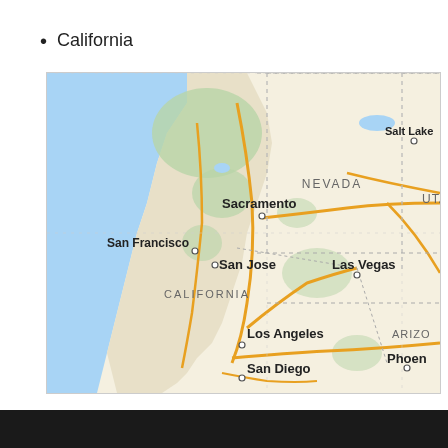California
[Figure (map): Google Maps view of California and surrounding states (Nevada, Utah, Arizona), showing cities: Sacramento, San Francisco, San Jose, Los Angeles, San Diego, Las Vegas, Salt Lake (City), Phoenix. The map shows the Pacific Ocean coastline to the west, state boundaries with dotted lines, and major roads/highways in orange/yellow.]